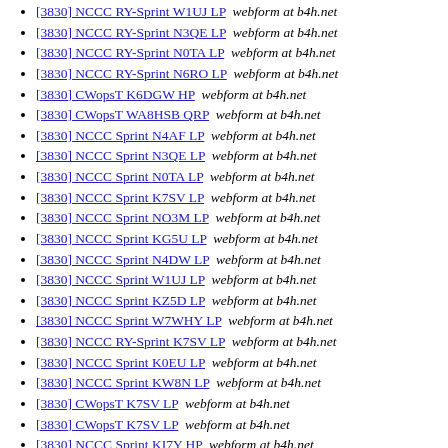[3830] NCCC RY-Sprint W1UJ LP  webform at b4h.net
[3830] NCCC RY-Sprint N3QE LP  webform at b4h.net
[3830] NCCC RY-Sprint N0TA LP  webform at b4h.net
[3830] NCCC RY-Sprint N6RO LP  webform at b4h.net
[3830] CWopsT K6DGW HP  webform at b4h.net
[3830] CWopsT WA8HSB QRP  webform at b4h.net
[3830] NCCC Sprint N4AF LP  webform at b4h.net
[3830] NCCC Sprint N3QE LP  webform at b4h.net
[3830] NCCC Sprint N0TA LP  webform at b4h.net
[3830] NCCC Sprint K7SV LP  webform at b4h.net
[3830] NCCC Sprint NO3M LP  webform at b4h.net
[3830] NCCC Sprint KG5U LP  webform at b4h.net
[3830] NCCC Sprint N4DW LP  webform at b4h.net
[3830] NCCC Sprint W1UJ LP  webform at b4h.net
[3830] NCCC Sprint KZ5D LP  webform at b4h.net
[3830] NCCC Sprint W7WHY LP  webform at b4h.net
[3830] NCCC RY-Sprint K7SV LP  webform at b4h.net
[3830] NCCC Sprint K0EU LP  webform at b4h.net
[3830] NCCC Sprint KW8N LP  webform at b4h.net
[3830] CWopsT K7SV LP  webform at b4h.net
[3830] CWopsT K7SV LP  webform at b4h.net
[3830] NCCC Sprint KI7Y HP  webform at b4h.net
[3830] NCCC Sprint W0BH LP  webform at b4h.net
[3830] NCCC RY-Sprint WD0T(@KD0S) LP  webform at b4h.net